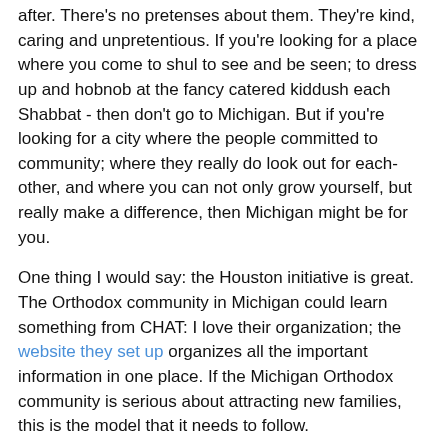after. There's no pretenses about them. They're kind, caring and unpretentious. If you're looking for a place where you come to shul to see and be seen; to dress up and hobnob at the fancy catered kiddush each Shabbat - then don't go to Michigan. But if you're looking for a city where the people committed to community; where they really do look out for each-other, and where you can not only grow yourself, but really make a difference, then Michigan might be for you.
One thing I would say: the Houston initiative is great. The Orthodox community in Michigan could learn something from CHAT: I love their organization; the website they set up organizes all the important information in one place. If the Michigan Orthodox community is serious about attracting new families, this is the model that it needs to follow.
[Figure (photo): A photo placeholder showing a wooded house scene with 'No Photo Available' text overlaid in white]